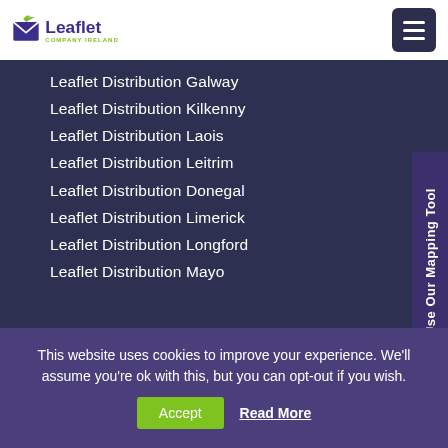[Figure (logo): Leaflet Company Ireland logo with green leaf/arrow icon and purple text]
Leaflet Distribution Galway
Leaflet Distribution Kilkenny
Leaflet Distribution Laois
Leaflet Distribution Leitrim
Leaflet Distribution Donegal
Leaflet Distribution Limerick
Leaflet Distribution Longford
Leaflet Distribution Mayo
Mosaic Target Profiling
This website uses cookies to improve your experience. We'll assume you're ok with this, but you can opt-out if you wish.